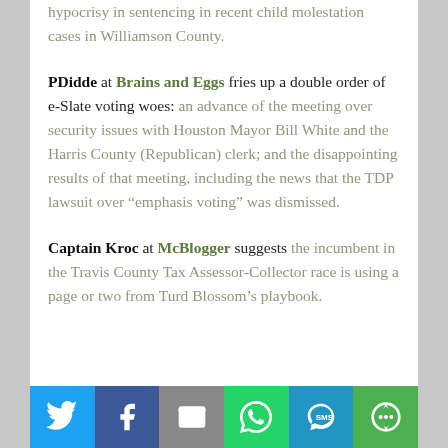hypocrisy in sentencing in recent child molestation cases in Williamson County.
PDidde at Brains and Eggs fries up a double order of e-Slate voting woes: an advance of the meeting over security issues with Houston Mayor Bill White and the Harris County (Republican) clerk; and the disappointing results of that meeting, including the news that the TDP lawsuit over “emphasis voting” was dismissed.
Captain Kroc at McBlogger suggests the incumbent in the Travis County Tax Assessor-Collector race is using a page or two from Turd Blossom’s playbook.
[Figure (infographic): Social media sharing bar with six buttons: Twitter (blue), Facebook (dark blue), Email (grey), WhatsApp (green), SMS (blue), and More (green)]